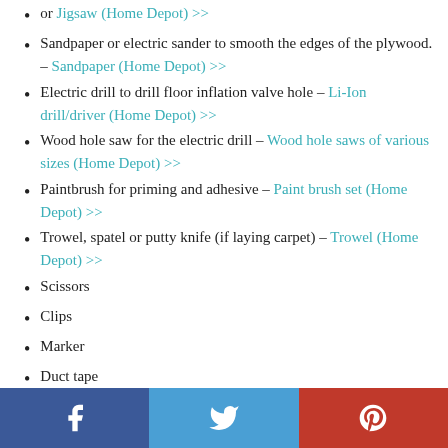or Jigsaw (Home Depot) >>
Sandpaper or electric sander to smooth the edges of the plywood. – Sandpaper (Home Depot) >>
Electric drill to drill floor inflation valve hole – Li-Ion drill/driver (Home Depot) >>
Wood hole saw for the electric drill – Wood hole saws of various sizes (Home Depot) >>
Paintbrush for priming and adhesive – Paint brush set (Home Depot) >>
Trowel, spatel or putty knife (if laying carpet) – Trowel (Home Depot) >>
Scissors
Clips
Marker
Duct tape
If you have all the materials, let's get to it.
[Figure (infographic): Social share bar with Facebook, Twitter, and Pinterest buttons at the bottom of the page]